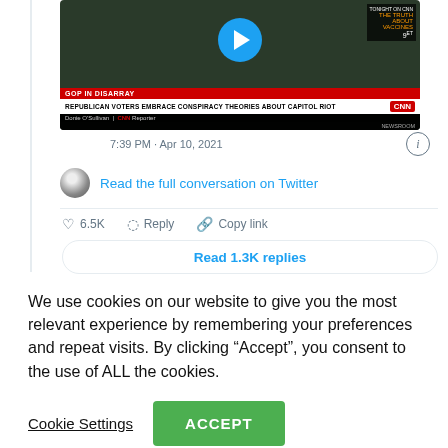[Figure (screenshot): CNN news video thumbnail embedded in a tweet, showing text overlay 'GOP IN DISARRAY' and 'REPUBLICAN VOTERS EMBRACE CONSPIRACY THEORIES ABOUT CAPITOL RIOT' with reporter Donie O'Sullivan credit and CNN logo, with a blue play button centered on the image]
7:39 PM · Apr 10, 2021
Read the full conversation on Twitter
6.5K   Reply   Copy link
Read 1.3K replies
We use cookies on our website to give you the most relevant experience by remembering your preferences and repeat visits. By clicking “Accept”, you consent to the use of ALL the cookies.
Cookie Settings
ACCEPT